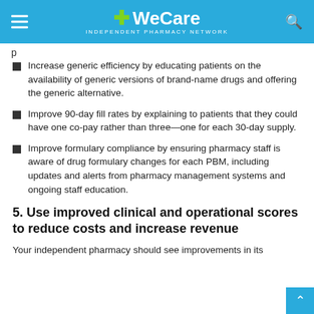WeCare Independent Pharmacy Network
Increase generic efficiency by educating patients on the availability of generic versions of brand-name drugs and offering the generic alternative.
Improve 90-day fill rates by explaining to patients that they could have one co-pay rather than three—one for each 30-day supply.
Improve formulary compliance by ensuring pharmacy staff is aware of drug formulary changes for each PBM, including updates and alerts from pharmacy management systems and ongoing staff education.
5. Use improved clinical and operational scores to reduce costs and increase revenue
Your independent pharmacy should see improvements in its